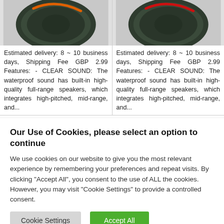[Figure (photo): Dark green/black rounded speaker product with orange accent, viewed from above-left angle]
Estimated delivery: 8 ~ 10 business days, Shipping Fee GBP 2.99 Features: - CLEAR SOUND: The waterproof sound has built-in high-quality full-range speakers, which integrates high-pitched, mid-range, and...
[Figure (photo): Dark green/black rounded speaker product with red accent, viewed from above-left angle]
Estimated delivery: 8 ~ 10 business days, Shipping Fee GBP 2.99 Features: - CLEAR SOUND: The waterproof sound has built-in high-quality full-range speakers, which integrates high-pitched, mid-range, and...
Our Use of Cookies, please select an option to continue
We use cookies on our website to give you the most relevant experience by remembering your preferences and repeat visits. By clicking "Accept All", you consent to the use of ALL the cookies. However, you may visit "Cookie Settings" to provide a controlled consent.
Cookie Settings | Accept All